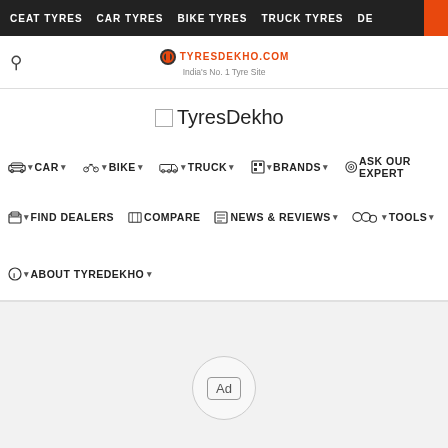CEAT TYRES  CAR TYRES  BIKE TYRES  TRUCK TYRES  DE
[Figure (screenshot): TyresDekho website logo area with 'India's No. 1 Tyre Site' tagline and search icon]
TyresDekho
CAR ▼  BIKE ▼  TRUCK ▼  BRANDS ▼  ASK OUR EXPERT
FIND DEALERS  COMPARE  NEWS & REVIEWS ▼  TOOLS ▼
ABOUT TYREDEKHO ▼
[Figure (other): Ad placeholder circle with 'Ad' label in lower gray section]